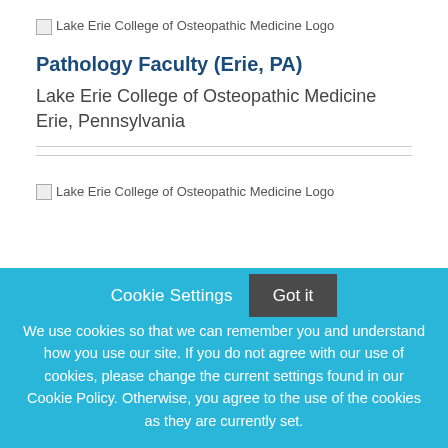[Figure (logo): Lake Erie College of Osteopathic Medicine Logo (broken image placeholder)]
Pathology Faculty (Erie, PA)
Lake Erie College of Osteopathic Medicine
Erie, Pennsylvania
[Figure (logo): Lake Erie College of Osteopathic Medicine Logo (broken image placeholder)]
Cookie Settings
Got it
We use cookies so that we can remember you and understand how you use our site. If you do not agree with our use of cookies, please change the current settings found in our Cookie Policy. Otherwise, you agree to the use of the cookies as they are currently set.